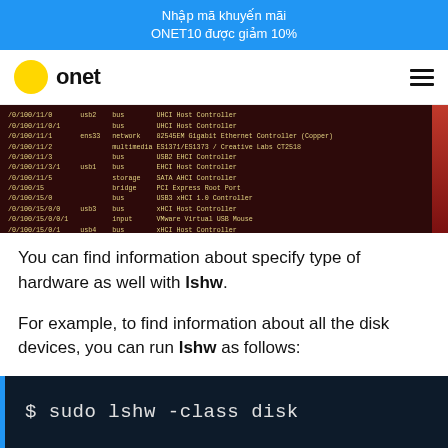Nhập mã khuyến mãi ONET10 được giảm 10%
[Figure (logo): Onet logo with yellow circle and bold 'onet' text]
[Figure (screenshot): Terminal output showing lshw hardware listing with usb, network, multimedia, storage, bridge devices and their classes]
You can find information about specify type of hardware as well with lshw.
For example, to find information about all the disk devices, you can run lshw as follows: